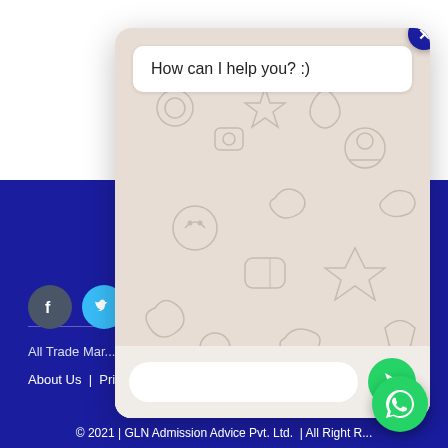[Figure (screenshot): WhatsApp chat popup widget showing 'How can I help you? :)' message bubble over decorative WhatsApp pattern background, with text input field and green send button, and a dark blue close button]
About Us | Privacy Polic...
[Figure (illustration): Facebook and Twitter social media icon buttons]
All Trade Mar...
© 2021 | GLN Admission Advice Pvt. Ltd. | All Right R...
[Figure (illustration): Green WhatsApp floating action button]